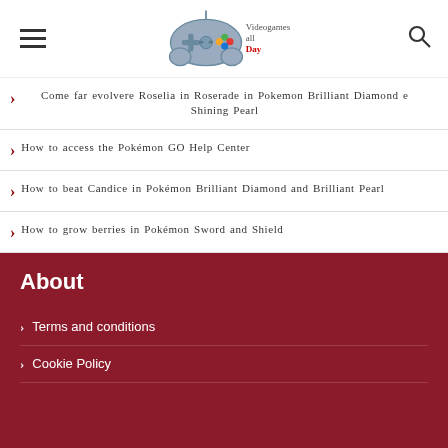Videogames all Day
Come far evolvere Roselia in Roserade in Pokemon Brilliant Diamond e Shining Pearl
How to access the Pokémon GO Help Center
How to beat Candice in Pokémon Brilliant Diamond and Brilliant Pearl
How to grow berries in Pokémon Sword and Shield
About
Terms and conditions
Cookie Policy